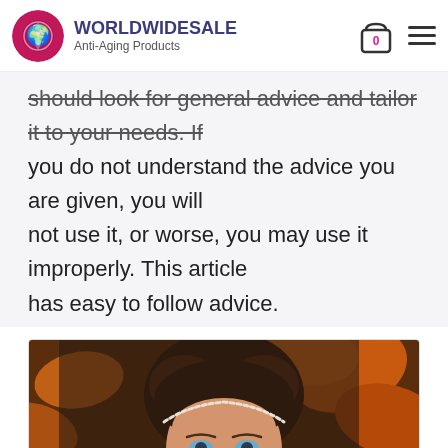WORLDWIDESALE Anti-Aging Products
should look for general advice and tailor it to your needs. If you do not understand the advice you are given, you will not use it, or worse, you may use it improperly. This article has easy to follow advice.
[Figure (photo): Portrait of a young woman with dark curly hair decorated with autumn leaves, wearing a pearl headband, smiling, against a warm orange-brown autumn leaf background.]